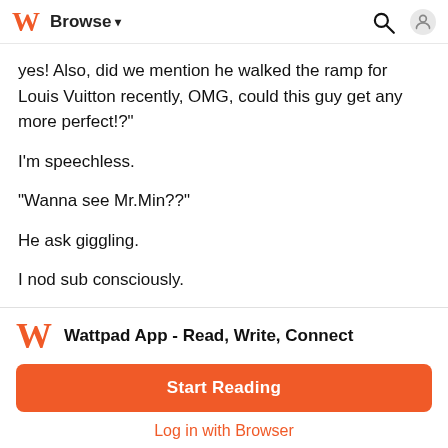Browse ▾
yes! Also, did we mention he walked the ramp for Louis Vuitton recently, OMG, could this guy get any more perfect!?"
I'm speechless.
"Wanna see Mr.Min??"
He ask giggling.
I nod sub consciously.
"Look??!"
BANG
Wattpad App - Read, Write, Connect
Start Reading
Log in with Browser